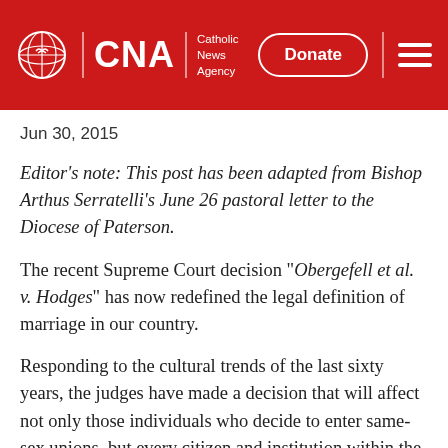CNA | Catholic News Agency — Donate
Jun 30, 2015
Editor's note: This post has been adapted from Bishop Arthus Serratelli's June 26 pastoral letter to the Diocese of Paterson.
The recent Supreme Court decision "Obergefell et al. v. Hodges" has now redefined the legal definition of marriage in our country.
Responding to the cultural trends of the last sixty years, the judges have made a decision that will affect not only those individuals who decide to enter same-sex unions, but every citizen and institution within the nation.